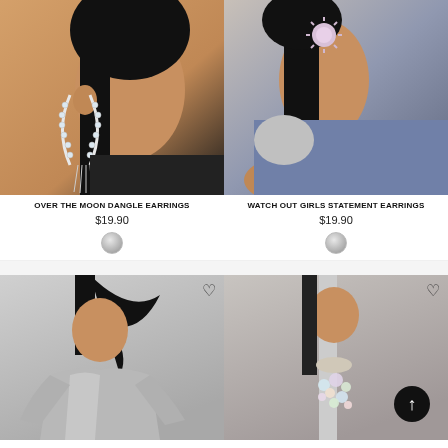[Figure (photo): Model wearing large crystal U-shape and fringe dangle earrings, dark background]
OVER THE MOON DANGLE EARRINGS
$19.90
[Figure (photo): Model wearing pink sunburst statement earrings, silver outfit, side profile]
WATCH OUT GIRLS STATEMENT EARRINGS
$19.90
[Figure (photo): Model in silver metallic jacket with long dark hair]
[Figure (photo): Model wearing crystal/gem embellished halter top]